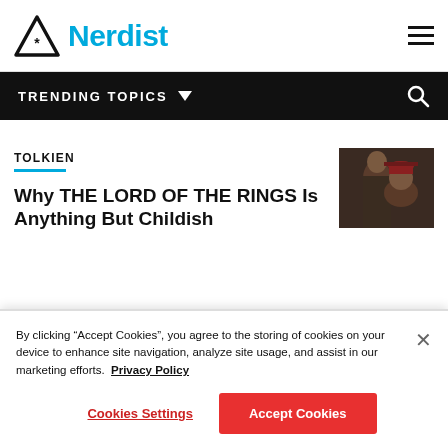Nerdist
TRENDING TOPICS
TOLKIEN
Why THE LORD OF THE RINGS Is Anything But Childish
[Figure (photo): Thumbnail showing two people in a dark scene]
By clicking “Accept Cookies”, you agree to the storing of cookies on your device to enhance site navigation, analyze site usage, and assist in our marketing efforts.  Privacy Policy